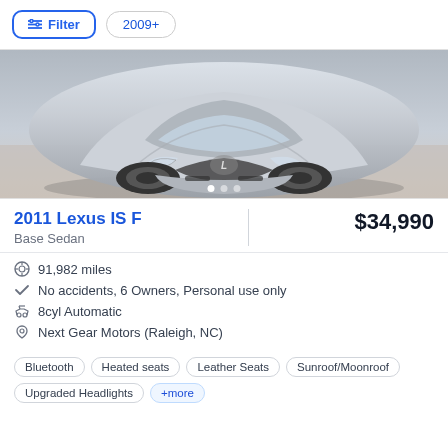Filter  2009+
[Figure (photo): Front view of a silver 2011 Lexus IS F sedan photographed from slightly above, on a concrete surface with shadow]
2011 Lexus IS F
$34,990
Base Sedan
91,982 miles
No accidents, 6 Owners, Personal use only
8cyl Automatic
Next Gear Motors (Raleigh, NC)
Bluetooth  Heated seats  Leather Seats  Sunroof/Moonroof  Upgraded Headlights  +more